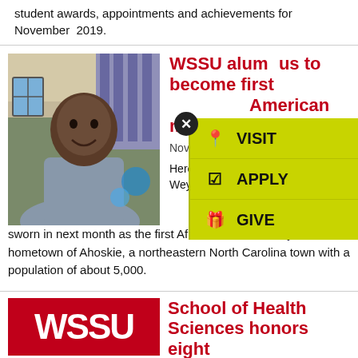student awards, appointments and achievements for November 2019.
[Figure (photo): Photo of Weyling White, a young African American man in a blue shirt, smiling in an indoor setting.]
WSSU alumnus to become first African American mayor of Ahoskie
November 18, 2019
Here are 8 questions with ... Weyling White. White will be sworn in next month as the first African American mayor of his hometown of Ahoskie, a northeastern North Carolina town with a population of about 5,000.
[Figure (logo): WSSU red logo block with white text]
School of Health Sciences honors eight